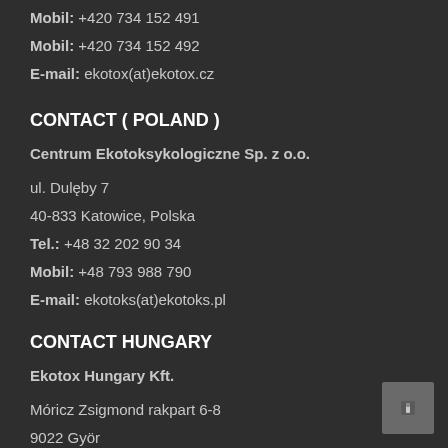Mobil: +420 734 152 491
Mobil: +420 734 152 492
E-mail: ekotox(at)ekotox.cz
CONTACT ( POLAND )
Centrum Ekotoksykologiczne Sp. z o.o.
ul. Dulęby 7
40-833 Katowice, Polska
Tel.: +48 32 202 90 34
Mobil: +48 793 988 790
E-mail: ekotoks(at)ekotoks.pl
CONTACT HUNGARY
Ekotox Hungary Kft.
Móricz Zsigmond rakpart 6-8
9022 Györ
Hungary